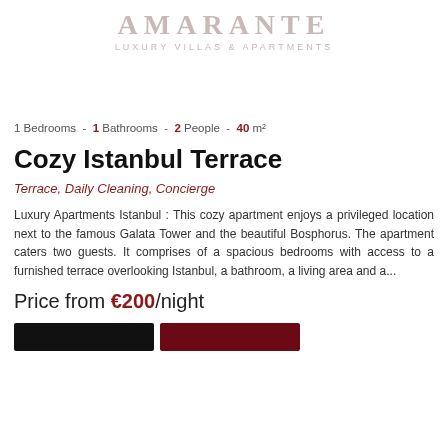AMARANTE
LUXURY VILLAS & APARTMENTS
1 Bedrooms  -  1 Bathrooms  -  2 People  -  40 m²
Cozy Istanbul Terrace
Terrace, Daily Cleaning, Concierge
Luxury Apartments Istanbul : This cozy apartment enjoys a privileged location next to the famous Galata Tower and the beautiful Bosphorus. The apartment caters two guests. It comprises of a spacious bedrooms with access to a furnished terrace overlooking Istanbul, a bathroom, a living area and a...
Price from €200/night